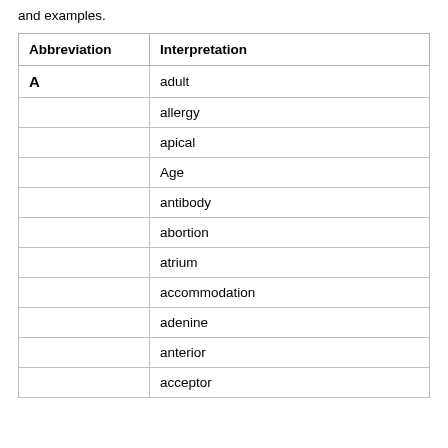and examples.
| Abbreviation | Interpretation |
| --- | --- |
| A | adult |
|  | allergy |
|  | apical |
|  | Age |
|  | antibody |
|  | abortion |
|  | atrium |
|  | accommodation |
|  | adenine |
|  | anterior |
|  | acceptor |